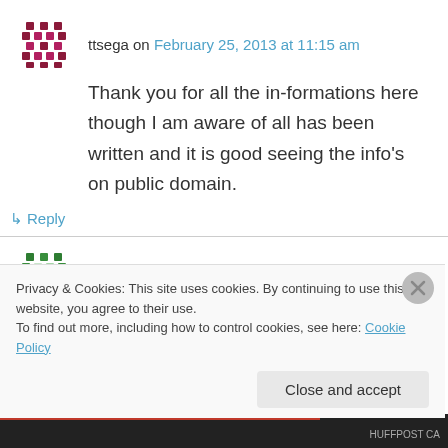ttsega on February 25, 2013 at 11:15 am
Thank you for all the in-formations here though I am aware of all has been written and it is good seeing the info’s on public domain.
↳ Reply
lizziedavigdor on February 24, 2013 at 5:13 am
Hi Sil
Just to follow up on Chenabaria – that may be a
Privacy & Cookies: This site uses cookies. By continuing to use this website, you agree to their use.
To find out more, including how to control cookies, see here: Cookie Policy
Close and accept